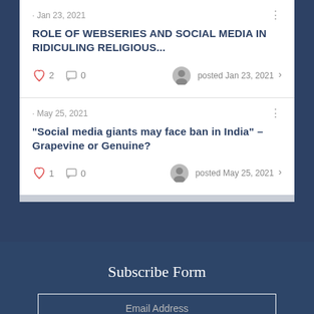· Jan 23, 2021
ROLE OF WEBSERIES AND SOCIAL MEDIA IN RIDICULING RELIGIOUS...
♥ 2  □ 0   posted Jan 23, 2021 >
· May 25, 2021
"Social media giants may face ban in India" – Grapevine or Genuine?
♥ 1  □ 0   posted May 25, 2021 >
Subscribe Form
Email Address